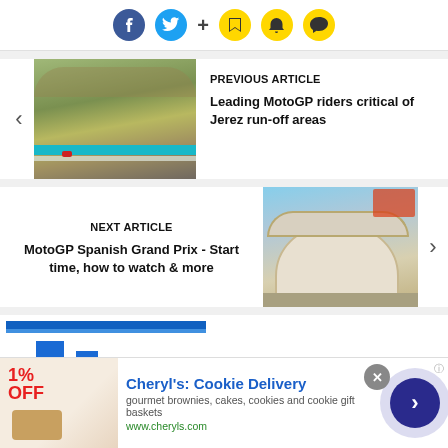[Figure (screenshot): Social sharing icons bar: Facebook, Twitter, plus sign, bookmark, bell, and chat bubble icons]
[Figure (screenshot): Previous article card with racetrack photo and text: PREVIOUS ARTICLE - Leading MotoGP riders critical of Jerez run-off areas]
[Figure (screenshot): Next article card with pit lane building photo and text: NEXT ARTICLE - MotoGP Spanish Grand Prix - Start time, how to watch & more]
[Figure (screenshot): Partial chart area visible at bottom of page]
[Figure (screenshot): Advertisement banner for Cheryl's Cookie Delivery - gourmet brownies, cakes, cookies and cookie gift baskets - www.cheryls.com]